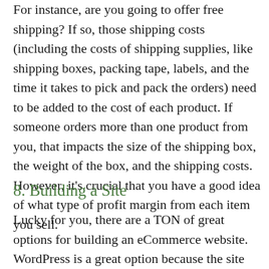For instance, are you going to offer free shipping? If so, those shipping costs (including the costs of shipping supplies, like shipping boxes, packing tape, labels, and the time it takes to pick and pack the orders) need to be added to the cost of each product. If someone orders more than one product from you, that impacts the size of the shipping box, the weight of the box, and the shipping costs. However, it's crucial that you have a good idea of what type of profit margin from each item you sell.
8. Building a Site
Lucky for you, there are a TON of great options for building an eCommerce website. WordPress is a great option because the site you build is YOURS! WooCommerce or BigCommerce are great